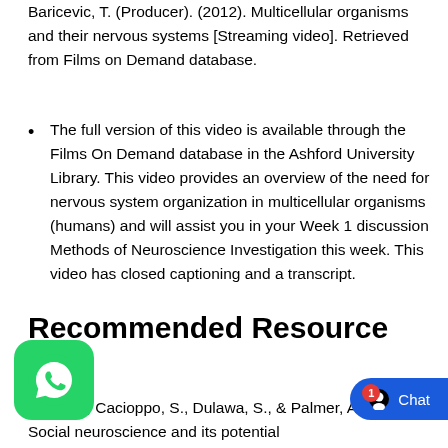Baricevic, T. (Producer). (2012). Multicellular organisms and their nervous systems [Streaming video]. Retrieved from Films on Demand database.
The full version of this video is available through the Films On Demand database in the Ashford University Library. This video provides an overview of the need for nervous system organization in multicellular organisms (humans) and will assist you in your Week 1 discussion Methods of Neuroscience Investigation this week. This video has closed captioning and a transcript.
Recommended Resource
Article
ppo, J.T., Cacioppo, S., Dulawa, S., & Palmer, A.A. (2014). Social neuroscience and its potential